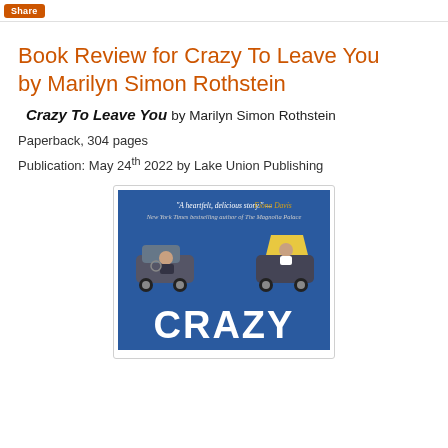Share
Book Review for Crazy To Leave You by Marilyn Simon Rothstein
Crazy To Leave You by Marilyn Simon Rothstein
Paperback, 304 pages
Publication: May 24th 2022 by Lake Union Publishing
[Figure (photo): Book cover of 'Crazy To Leave You' by Marilyn Simon Rothstein. Blue background with illustrated characters in cars. Quote from Fiona Davis: 'A heartfelt, delicious story.' — Fiona Davis, New York Times bestselling author of The Magnolia Palace. Large white text 'CRAZY' at bottom.]